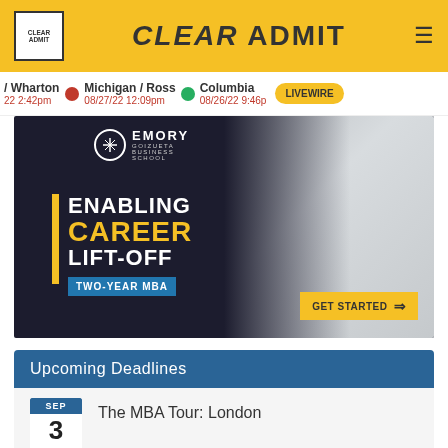CLEAR ADMIT
/ Wharton 22 2:42pm | Michigan / Ross 08/27/22 12:09pm | Columbia 08/26/22 9:46p | LIVEWIRE
[Figure (photo): Emory Goizueta Business School advertisement: 'Enabling Career Lift-Off, Two-Year MBA, Get Started' with a woman in a business suit smiling]
Upcoming Deadlines
The MBA Tour: London
SEP 3 Sat